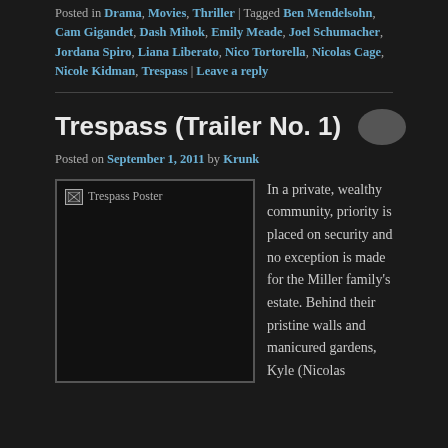Posted in Drama, Movies, Thriller | Tagged Ben Mendelsohn, Cam Gigandet, Dash Mihok, Emily Meade, Joel Schumacher, Jordana Spiro, Liana Liberato, Nico Tortorella, Nicolas Cage, Nicole Kidman, Trespass | Leave a reply
Trespass (Trailer No. 1)
Posted on September 1, 2011 by Krunk
[Figure (photo): Trespass Poster image placeholder with broken image icon]
In a private, wealthy community, priority is placed on security and no exception is made for the Miller family's estate. Behind their pristine walls and manicured gardens, Kyle (Nicolas